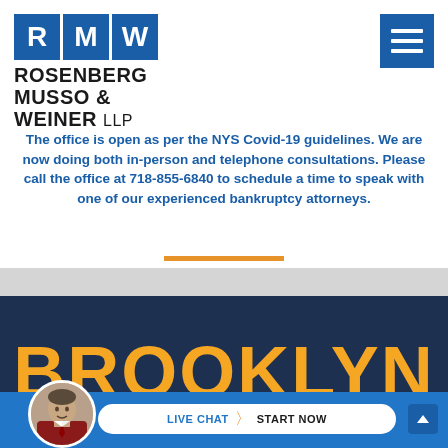[Figure (logo): Rosenberg Musso & Weiner LLP logo with blue square boxes containing letters R, M, W and firm name text below]
[Figure (other): Blue hamburger menu icon (three horizontal white lines on blue background) in top right corner]
The office is open as per the NYS Covid-19 guidelines. We are now doing both in-person and telephone consultations. Please call the office at 718-855-6840 to schedule a time to speak with one of our experienced bankruptcy attorneys.
BROOKLYN
[Figure (photo): Circular cropped photo of a man in business attire (attorney) at the bottom left]
LIVE CHAT  START NOW